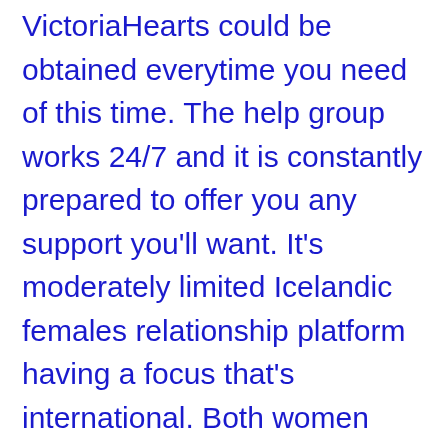VictoriaHearts could be obtained everytime you need of this time. The help group works 24/7 and it is constantly prepared to offer you any support you'll want. It's moderately limited Icelandic females relationship platform having a focus that's international. Both women and men from various nations are presented right here with a method to get familiarized and construct an extended-lasting and relationship that's mature. Powerful matching algorithms make MatchTruly a location the place you can get yourself a match that is perfect losing time on chatting with individuals who don't meet your dating standards. Individuals who have confidence in love across cultures, don't contemplate an extended-distance relationship as a challenge and are usually assured to find a soul mates online are gathered right here.
If there is a soulmate for everyone, who can claim that she or he lives close by? So, seeking a perfect partner in any